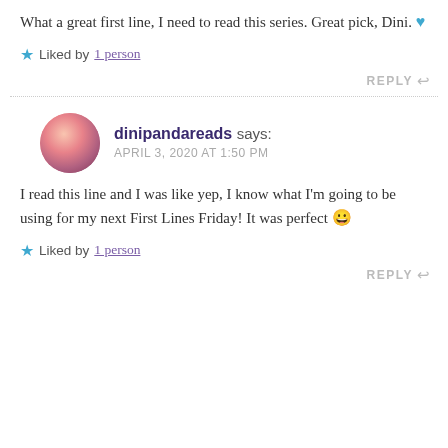What a great first line, I need to read this series. Great pick, Dini. 💙
★ Liked by 1 person
REPLY ↩
dinipandareads says: APRIL 3, 2020 AT 1:50 PM
I read this line and I was like yep, I know what I'm going to be using for my next First Lines Friday! It was perfect 😀
★ Liked by 1 person
REPLY ↩